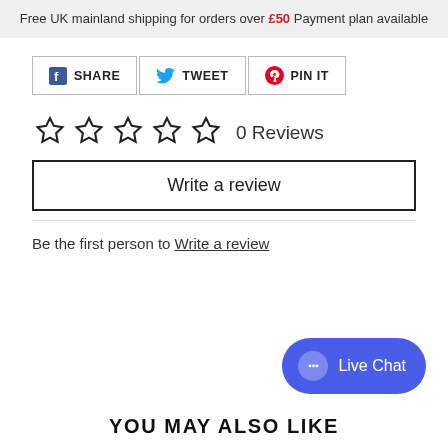Free UK mainland shipping for orders over £50 Payment plan available
[Figure (infographic): Social share buttons: Facebook SHARE, Twitter TWEET, Pinterest PIN IT]
0 Reviews
Write a review
Be the first person to Write a review
[Figure (infographic): Live Chat button with chat bubble icon]
YOU MAY ALSO LIKE